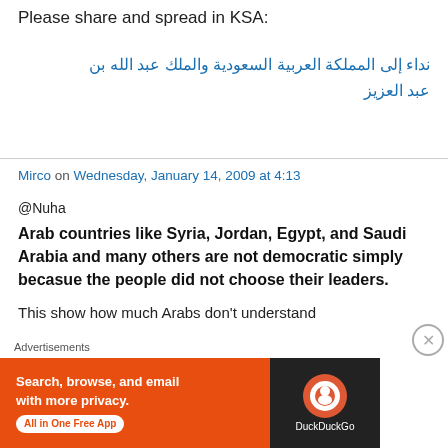Please share and spread in KSA:
نداء إلى المملكة العربية السعودية والملك عبد الله بن عبد العزيز
Mirco on Wednesday, January 14, 2009 at 4:13
@Nuha
Arab countries like Syria, Jordan, Egypt, and Saudi Arabia and many others are not democratic simply becasue the people did not choose their leaders.
This show how much Arabs don't understand
Advertisements
[Figure (other): DuckDuckGo advertisement banner: orange background with text 'Search, browse, and email with more privacy. All in One Free App' and DuckDuckGo logo on dark background]